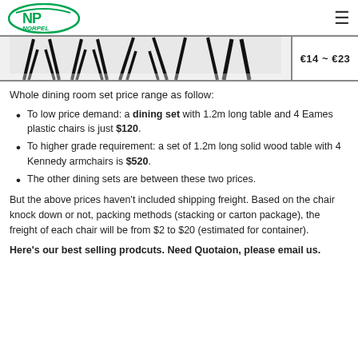NORPEL logo | hamburger menu
[Figure (photo): Chair legs/dining chairs product image strip with price label €14 ~ €23]
Whole dining room set price range as follow:
To low price demand: a dining set with 1.2m long table and 4 Eames plastic chairs is just $120.
To higher grade requirement: a set of 1.2m long solid wood table with 4 Kennedy armchairs is $520.
The other dining sets are between these two prices.
But the above prices haven't included shipping freight. Based on the chair knock down or not, packing methods (stacking or carton package), the freight of each chair will be from $2 to $20 (estimated for container).
Here's our best selling prodcuts. Need Quotaion, please email us.